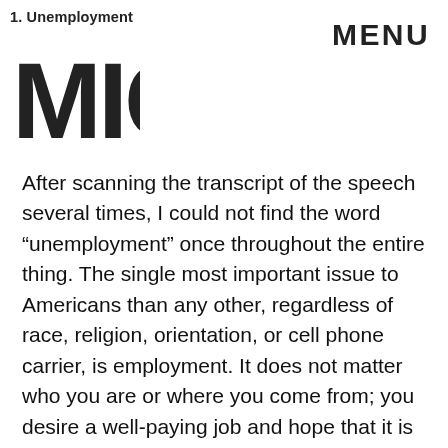1. Unemployment  MENU
After scanning the transcript of the speech several times, I could not find the word “unemployment” once throughout the entire thing. The single most important issue to Americans than any other, regardless of race, religion, orientation, or cell phone carrier, is employment. It does not matter who you are or where you come from; you desire a well-paying job and hope that it is doing something you love. It is very interesting that Obama’s speech did not mention our nation’s unemployment problem at all. The word “jobs”